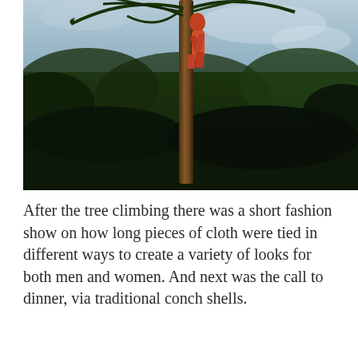[Figure (photo): Person climbing a palm tree with dark tropical foliage and overcast sky in the background]
After the tree climbing there was a short fashion show on how long pieces of cloth were tied in different ways to create a variety of looks for both men and women. And next was the call to dinner, via traditional conch shells.
[Figure (photo): Outdoor scene with dense vegetation and text overlay reading 'Dust Bunnies & Dog Toys']
Advertisements
[Figure (screenshot): MAC Cosmetics advertisement showing lipsticks and SHOP NOW button]